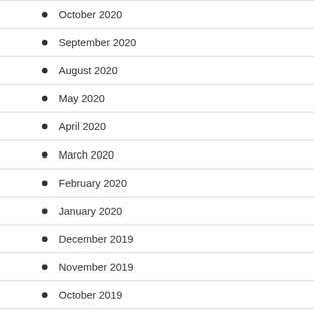October 2020
September 2020
August 2020
May 2020
April 2020
March 2020
February 2020
January 2020
December 2019
November 2019
October 2019
September 2019
August 2019
July 2019
June 2019